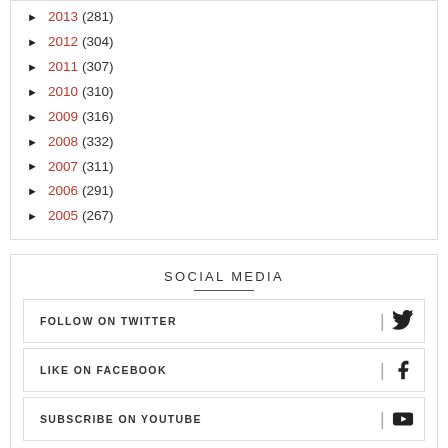► 2013 (281)
► 2012 (304)
► 2011 (307)
► 2010 (310)
► 2009 (316)
► 2008 (332)
► 2007 (311)
► 2006 (291)
► 2005 (267)
SOCIAL MEDIA
FOLLOW ON TWITTER
LIKE ON FACEBOOK
SUBSCRIBE ON YOUTUBE